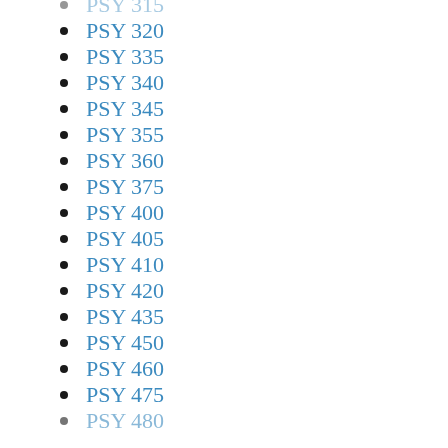PSY 315
PSY 320
PSY 335
PSY 340
PSY 345
PSY 355
PSY 360
PSY 375
PSY 400
PSY 405
PSY 410
PSY 420
PSY 435
PSY 450
PSY 460
PSY 475
PSY 480